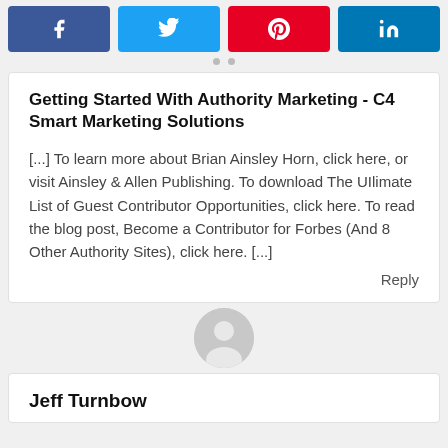[Figure (other): Social share buttons row: Facebook (blue), Twitter (blue), Pinterest (red), LinkedIn (blue)]
Getting Started With Authority Marketing - C4 Smart Marketing Solutions
[...] To learn more about Brian Ainsley Horn, click here, or visit Ainsley & Allen Publishing. To download The UIlimate List of Guest Contributor Opportunities, click here. To read the blog post, Become a Contributor for Forbes (And 8 Other Authority Sites), click here. [...]
Reply
[Figure (illustration): Default user avatar: grey circle with silhouette of a person]
Jeff Turnbow